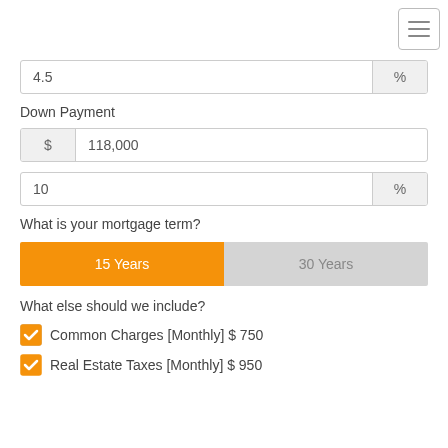[Figure (other): Hamburger menu icon (three horizontal lines) in top-right corner]
4.5 %
Down Payment
$ 118,000
10 %
What is your mortgage term?
15 Years
30 Years
What else should we include?
Common Charges [Monthly] $ 750
Real Estate Taxes [Monthly] $ 950